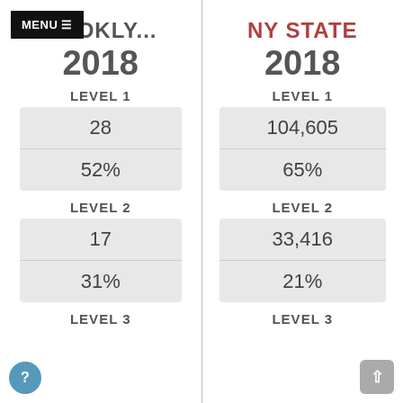MENU
BROKLY...
NY STATE
2018
2018
LEVEL 1
LEVEL 1
| 28 |
| 52% |
| 104,605 |
| 65% |
LEVEL 2
LEVEL 2
| 17 |
| 31% |
| 33,416 |
| 21% |
LEVEL 3
LEVEL 3